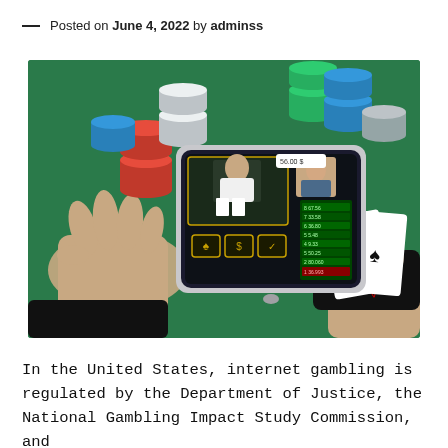— Posted on June 4, 2022 by adminss
[Figure (photo): Overhead view of a tablet showing an online casino live dealer interface with poker cards (two Aces) held in right hand, poker chips scattered on green felt table, and a left hand resting on the table.]
In the United States, internet gambling is regulated by the Department of Justice, the National Gambling Impact Study Commission, and